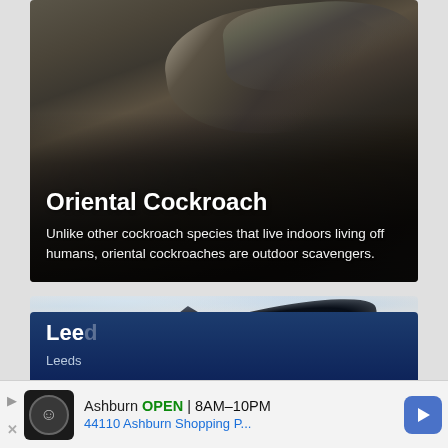[Figure (photo): Photograph of an oriental cockroach on a dark rocky surface with overlaid title and description text]
Oriental Cockroach
Unlike other cockroach species that live indoors living off humans, oriental cockroaches are outdoor scavengers.
[Figure (photo): Underwater photograph of a large fish (sunfish/mola mola or whale shark) swimming in deep blue water]
Leed...
Leeds...
Ashburn OPEN 8AM–10PM
44110 Ashburn Shopping P...